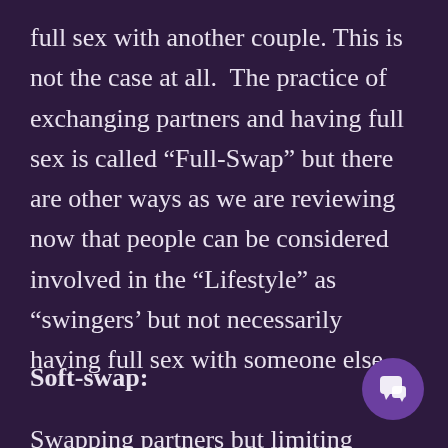full sex with another couple. This is not the case at all.  The practice of exchanging partners and having full sex is called “Full-Swap” but there are other ways as we are reviewing now that people can be considered involved in the “Lifestyle” as “swingers’ but not necessarily having full sex with someone else.
Soft-swap:
Swapping partners but limiting activity to